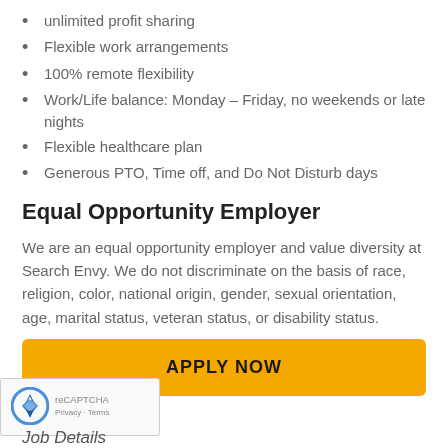unlimited profit sharing
Flexible work arrangements
100% remote flexibility
Work/Life balance: Monday – Friday, no weekends or late nights
Flexible healthcare plan
Generous PTO, Time off, and Do Not Disturb days
Equal Opportunity Employer
We are an equal opportunity employer and value diversity at Search Envy. We do not discriminate on the basis of race, religion, color, national origin, gender, sexual orientation, age, marital status, veteran status, or disability status.
APPLY NOW
Job Details